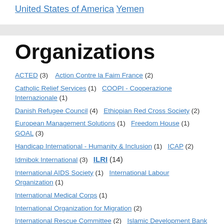United States of America
Yemen
Organizations
ACTED (3)   Action Contre la Faim France (2)
Catholic Relief Services (1)   COOPI - Cooperazione Internazionale (1)
Danish Refugee Council (4)   Ethiopian Red Cross Society (2)
European Management Solutions (1)   Freedom House (1)   GOAL (3)
Handicap International - Humanity & Inclusion (1)   ICAP (2)
Idmibok International (3)   ILRI (14)
International AIDS Society (1)   International Labour Organization (1)
International Medical Corps (1)
International Organization for Migration (2)
International Rescue Committee (2)   Islamic Development Bank (1)